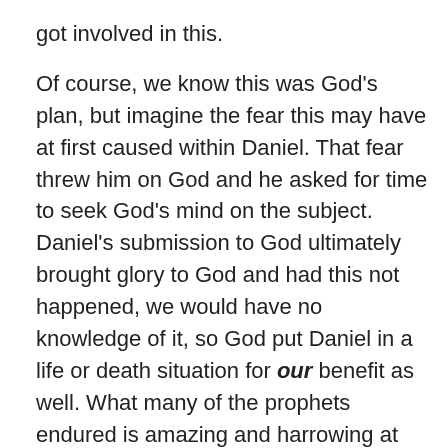got involved in this.

Of course, we know this was God's plan, but imagine the fear this may have at first caused within Daniel. That fear threw him on God and he asked for time to seek God's mind on the subject. Daniel's submission to God ultimately brought glory to God and had this not happened, we would have no knowledge of it, so God put Daniel in a life or death situation for our benefit as well. What many of the prophets endured is amazing and harrowing at the same time. God did it so that we would have knowledge of His plans and to glorify Himself. Yet, how often do we fully neglect His Word by not reading it on a daily basis? There really is no excuse for that. Though my wife and I read His Word daily, I'm realizing I still do not read it enough! It is God's communication to ME – to YOU about His plan of